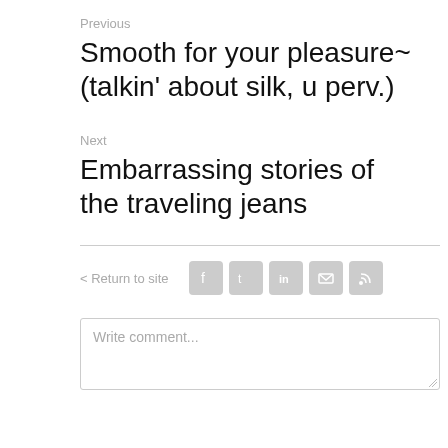Previous
Smooth for your pleasure~ (talkin' about silk, u perv.)
Next
Embarrassing stories of the traveling jeans
< Return to site
[Figure (infographic): Social media sharing icons: Facebook, Twitter, LinkedIn, Email, RSS]
Write comment...